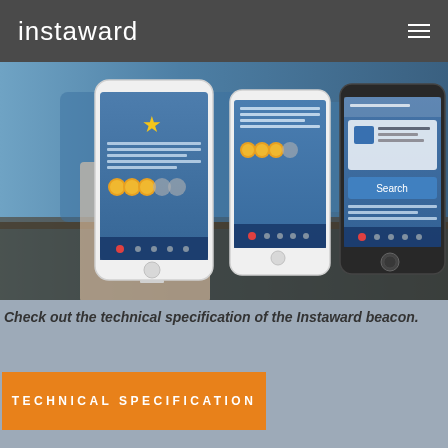instaward
[Figure (screenshot): Hero image showing a hand holding a white smartphone with a blue rewards app interface featuring gold stars and coin icons, with additional smartphones visible in the background showing similar app screens]
Check out the technical specification of the Instaward beacon.
TECHNICAL SPECIFICATION